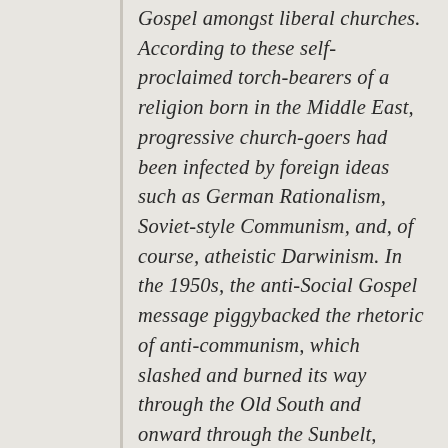Gospel amongst liberal churches. According to these self-proclaimed torch-bearers of a religion born in the Middle East, progressive church-goers had been infected by foreign ideas such as German Rationalism, Soviet-style Communism, and, of course, atheistic Darwinism. In the 1950s, the anti-Social Gospel message piggybacked the rhetoric of anti-communism, which slashed and burned its way through the Old South and onward through the Sunbelt, turning liberal churches into vacant lots along the way. It was here that the spirit and the body collided, leaving us with a prototypical Christian nationalist, hell-bent on prosperity. Charity was thus rebranded as collectivism and self-denial gave way to the gospel of accumulation. Church-to-church, sermon-to-sermon, evangelical preachers grew less